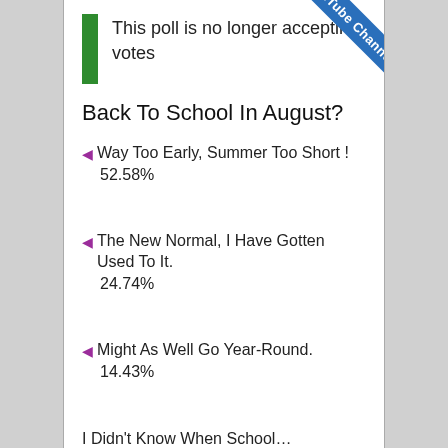This poll is no longer accepting votes
Back To School In August?
Way Too Early, Summer Too Short ! — 52.58%
The New Normal, I Have Gotten Used To It. — 24.74%
Might As Well Go Year-Round. — 14.43%
I Didn't Know When School…
[Figure (other): KSST's YouTube Channel diagonal blue ribbon banner in top-right corner]